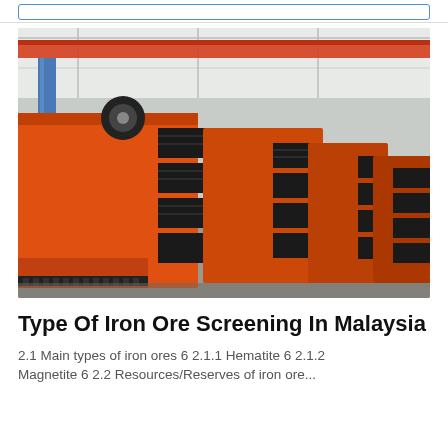[Figure (photo): Multiple large orange and black industrial iron ore screening/vibrating screen machines lined up in a factory warehouse with a red overhead crane visible in the background.]
Type Of Iron Ore Screening In Malaysia
2.1 Main types of iron ores 6 2.1.1 Hematite 6 2.1.2 Magnetite 6 2.2 Resources/Reserves of iron ore...